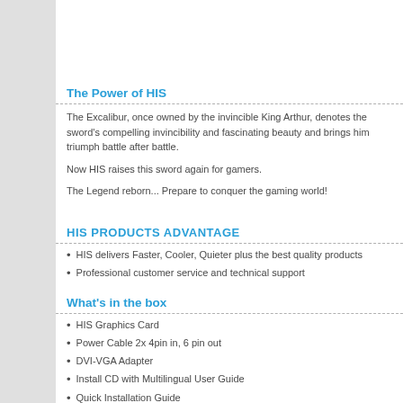The Power of HIS
The Excalibur, once owned by the invincible King Arthur, denotes the sword's compelling invincibility and fascinating beauty and brings him triumph battle after battle.
Now HIS raises this sword again for gamers.
The Legend reborn... Prepare to conquer the gaming world!
HIS PRODUCTS ADVANTAGE
HIS delivers Faster, Cooler, Quieter plus the best quality products
Professional customer service and technical support
What's in the box
HIS Graphics Card
Power Cable 2x 4pin in, 6 pin out
DVI-VGA Adapter
Install CD with Multilingual User Guide
Quick Installation Guide
HIS Power Up Label